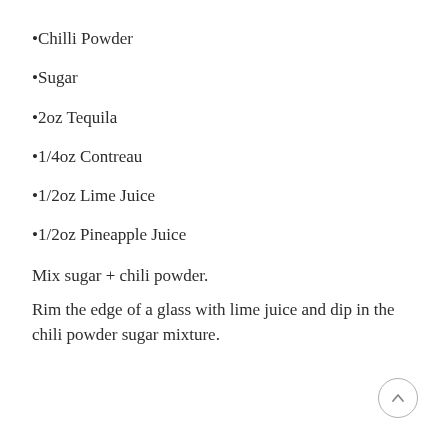Chilli Powder
Sugar
2oz Tequila
1/4oz Contreau
1/2oz Lime Juice
1/2oz Pineapple Juice
Mix sugar + chili powder.
Rim the edge of a glass with lime juice and dip in the chili powder sugar mixture.